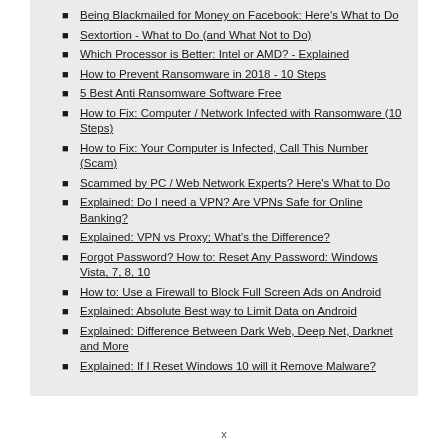Being Blackmailed for Money on Facebook: Here's What to Do
Sextortion - What to Do (and What Not to Do)
Which Processor is Better: Intel or AMD? - Explained
How to Prevent Ransomware in 2018 - 10 Steps
5 Best Anti Ransomware Software Free
How to Fix: Computer / Network Infected with Ransomware (10 Steps)
How to Fix: Your Computer is Infected, Call This Number (Scam)
Scammed by PC / Web Network Experts? Here's What to Do
Explained: Do I need a VPN? Are VPNs Safe for Online Banking?
Explained: VPN vs Proxy; What's the Difference?
Forgot Password? How to: Reset Any Password: Windows Vista, 7, 8, 10
How to: Use a Firewall to Block Full Screen Ads on Android
Explained: Absolute Best way to Limit Data on Android
Explained: Difference Between Dark Web, Deep Net, Darknet and More
Explained: If I Reset Windows 10 will it Remove Malware?
x